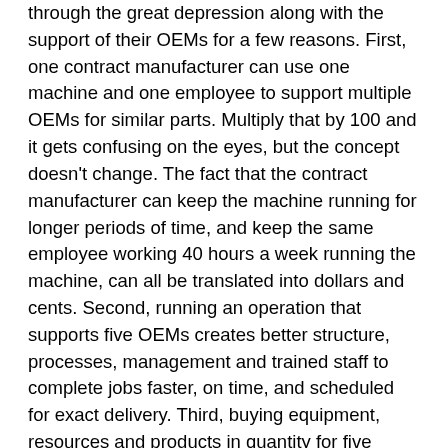through the great depression along with the support of their OEMs for a few reasons. First, one contract manufacturer can use one machine and one employee to support multiple OEMs for similar parts. Multiply that by 100 and it gets confusing on the eyes, but the concept doesn't change. The fact that the contract manufacturer can keep the machine running for longer periods of time, and keep the same employee working 40 hours a week running the machine, can all be translated into dollars and cents. Second, running an operation that supports five OEMs creates better structure, processes, management and trained staff to complete jobs faster, on time, and scheduled for exact delivery. Third, buying equipment, resources and products in quantity for five OEMs translates into savings that the OEM couldn't get alone. Finally, the fact that the contract manufacturer owns and replaces their equipment, pays the employee's salaries and holds inventory until the day of shipment means better cash flow for the OEM. All of that said, and considering a fair profit margin for the contract manufacturer, the OEM is getting a better deal through